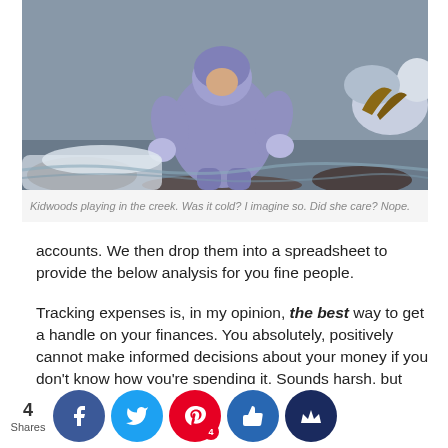[Figure (photo): Child in lavender snowsuit crouched by a creek in winter, with snow visible on rocks and ground.]
Kidwoods playing in the creek. Was it cold? I imagine so. Did she care? Nope.
accounts. We then drop them into a spreadsheet to provide the below analysis for you fine people.
Tracking expenses is, in my opinion, the best way to get a handle on your finances. You absolutely, positively cannot make informed decisions about your money if you don't know how you're spending it. Sounds harsh, but without a holistic picture of how much you spend every month, there's no way to set savings, debt repayment, or investment goals. It's a frugal must, folks. No excuses.
Personal Capital (which is free to use) is a great way for us to automatize financial views and links all our accounts together and provides a comprehensive picture of our net worth...